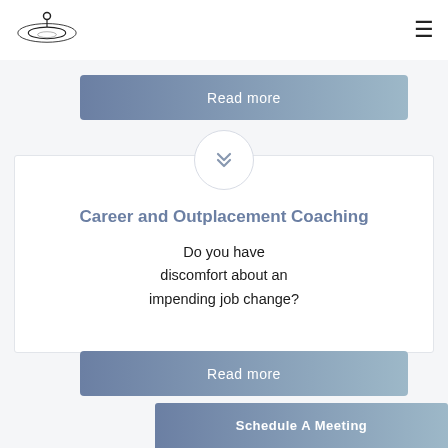[Figure (logo): Circular logo with a stylized figure and orbital rings]
Read more
[Figure (other): Circle with double chevron down arrow]
Career and Outplacement Coaching
Do you have discomfort about an impending job change?
Read more
Schedule A Meeting